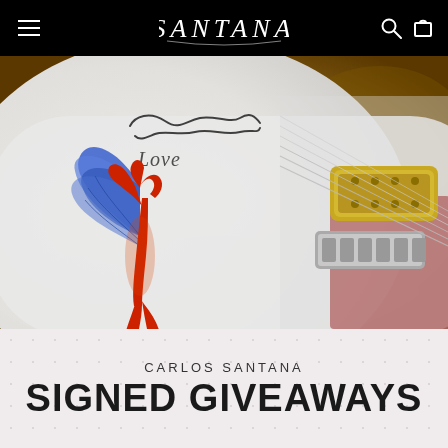SANTANA
[Figure (photo): Close-up photo of a white electric guitar (Santana signature model) with a hand-painted angel/winged figure artwork in red and blue, and Carlos Santana's autograph signature reading 'Love' on the body. Guitar hardware including a gold humbucker pickup and chrome tailpiece visible on the right side. Warm blurred background.]
CARLOS SANTANA
SIGNED GIVEAWAYS